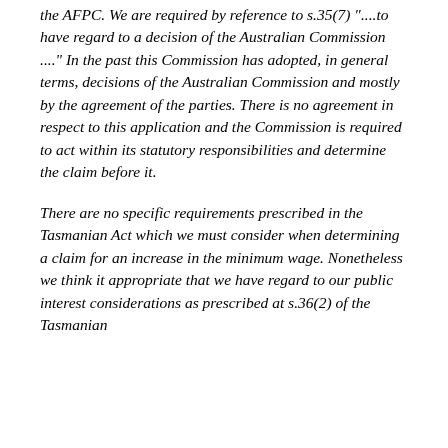the AFPC. We are required by reference to s.35(7) "....to have regard to a decision of the Australian Commission ...." In the past this Commission has adopted, in general terms, decisions of the Australian Commission and mostly by the agreement of the parties. There is no agreement in respect to this application and the Commission is required to act within its statutory responsibilities and determine the claim before it.
There are no specific requirements prescribed in the Tasmanian Act which we must consider when determining a claim for an increase in the minimum wage. Nonetheless we think it appropriate that we have regard to our public interest considerations as prescribed at s.36(2) of the Tasmanian